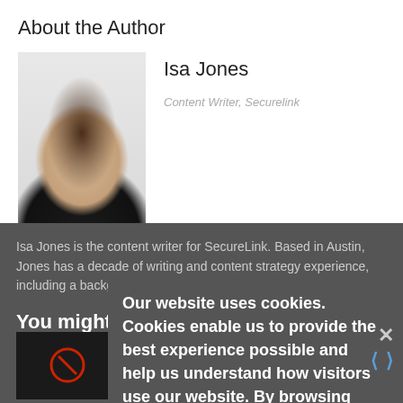About the Author
Isa Jones
Content Writer, Securelink
[Figure (photo): Headshot photo of Isa Jones, a woman with long brown hair and glasses wearing a dark jacket]
Isa Jones is the content writer for SecureLink. Based in Austin, Jones has a decade of writing and content strategy experience, including a background in journalism.
You might also be interested in ...
[Figure (photo): Dark thumbnail image on left side]
[Figure (photo): Book cover thumbnail: Third-Party Cyber Risk Management Dummies]
Our website uses cookies. Cookies enable us to provide the best experience possible and help us understand how visitors use our website. By browsing databreachtoday.com, you agree to our use of cookies.